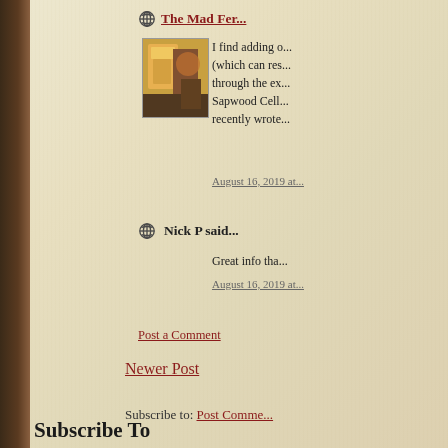The Mad Fer...
[Figure (photo): Small thumbnail image of beer/brewing related photo with orange and dark tones]
I find adding o... (which can res... through the ex... Sapwood Cell... recently wrote...
August 16, 2019 at...
Nick P said...
Great info tha...
August 16, 2019 at...
Post a Comment
Newer Post
Subscribe to: Post Comme...
Subscribe To